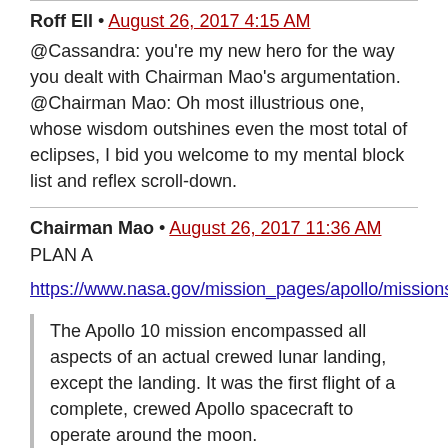Roff Ell • August 26, 2017 4:15 AM
@Cassandra: you're my new hero for the way you dealt with Chairman Mao's argumentation.
@Chairman Mao: Oh most illustrious one, whose wisdom outshines even the most total of eclipses, I bid you welcome to my mental block list and reflex scroll-down.
Chairman Mao • August 26, 2017 11:36 AM
PLAN A
https://www.nasa.gov/mission_pages/apollo/missions/apollo10.html
The Apollo 10 mission encompassed all aspects of an actual crewed lunar landing, except the landing. It was the first flight of a complete, crewed Apollo spacecraft to operate around the moon.

Objectives included a scheduled eight-hour lunar orbit of the separated lunar module, or LM, and descent to